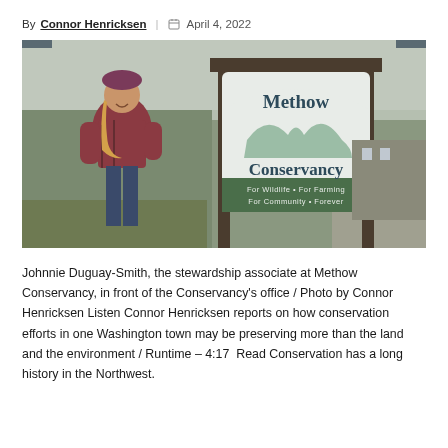By Connor Henricksen | April 4, 2022
[Figure (photo): Johnnie Duguay-Smith standing in front of a Methow Conservancy sign that reads 'For Wildlife • For Farming / For Community • Forever', surrounded by trees with bare branches in the background.]
Johnnie Duguay-Smith, the stewardship associate at Methow Conservancy, in front of the Conservancy's office / Photo by Connor Henricksen Listen Connor Henricksen reports on how conservation efforts in one Washington town may be preserving more than the land and the environment / Runtime – 4:17  Read Conservation has a long history in the Northwest.